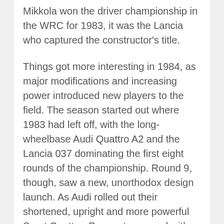Mikkola won the driver championship in the WRC for 1983, it was the Lancia who captured the constructor's title.
Things got more interesting in 1984, as major modifications and increasing power introduced new players to the field. The season started out where 1983 had left off, with the long-wheelbase Audi Quattro A2 and the Lancia 037 dominating the first eight rounds of the championship. Round 9, though, saw a new, unorthodox design launch. As Audi rolled out their shortened, upright and more powerful Sport Quattro, Peugeot emerged with the diminutive 205 economy hatchback. Yet it was not a front-engine, front-drive design as they'd